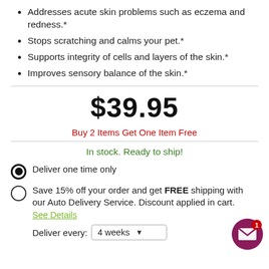Addresses acute skin problems such as eczema and redness.*
Stops scratching and calms your pet.*
Supports integrity of cells and layers of the skin.*
Improves sensory balance of the skin.*
$39.95
Buy 2 Items Get One Item Free
In stock. Ready to ship!
Deliver one time only
Save 15% off your order and get FREE shipping with our Auto Delivery Service. Discount applied in cart.
See Details
Deliver every: 4 weeks